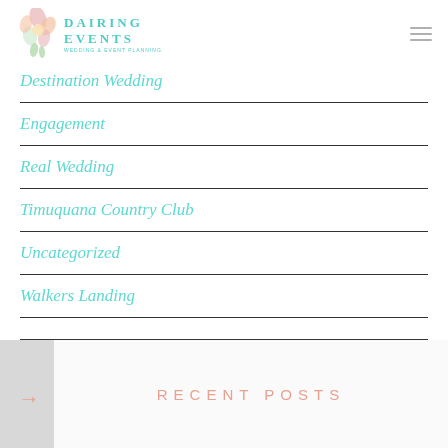Dairing Events
Destination Wedding
Engagement
Real Wedding
Timuquana Country Club
Uncategorized
Walkers Landing
RECENT POSTS